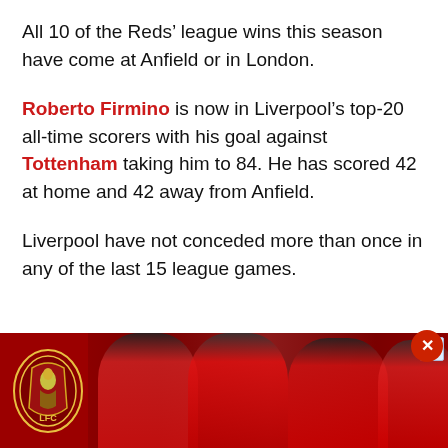All 10 of the Reds' league wins this season have come at Anfield or in London.
Roberto Firmino is now in Liverpool's top-20 all-time scorers with his goal against Tottenham taking him to 84. He has scored 42 at home and 42 away from Anfield.
Liverpool have not conceded more than once in any of the last 15 league games.
[Figure (photo): Liverpool FC advertisement banner showing players in red LFC kits with LFC logo]